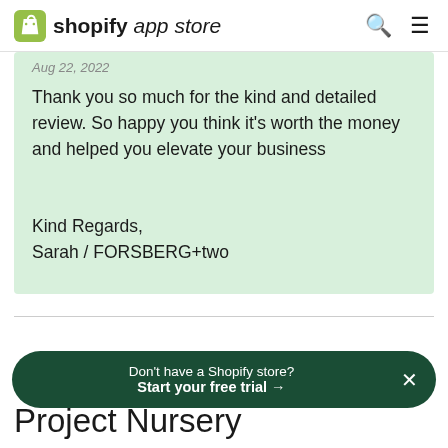shopify app store
Thank you so much for the kind and detailed review. So happy you think it's worth the money and helped you elevate your business

Kind Regards,
Sarah / FORSBERG+two
Don't have a Shopify store? Start your free trial →
Project Nursery